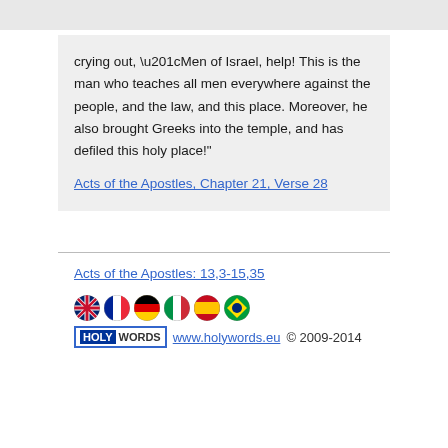crying out, “Men of Israel, help! This is the man who teaches all men everywhere against the people, and the law, and this place. Moreover, he also brought Greeks into the temple, and has defiled this holy place!”
Acts of the Apostles, Chapter 21, Verse 28
Acts of the Apostles: 13,3-15,35
[Figure (other): Row of six circular national flag icons: UK, France, Germany, Italy, Spain, Brazil]
HOLY WORDS   www.holywords.eu © 2009-2014